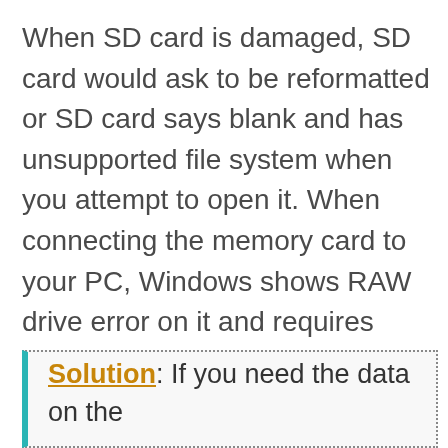When SD card is damaged, SD card would ask to be reformatted or SD card says blank and has unsupported file system when you attempt to open it. When connecting the memory card to your PC, Windows shows RAW drive error on it and requires formatting. When you use chdsk to repair the sd card, it would report chkdsk is not available for raw sd card.
Solution: If you need the data on the